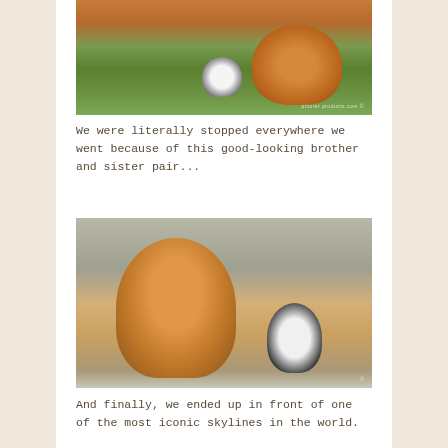[Figure (photo): Two dogs on grass — a large fluffy golden Chow Chow and a small black-and-white dog, sitting in front of a building]
We were literally stopped everywhere we went because of this good-looking brother and sister pair...
[Figure (photo): A large fluffy golden Chow Chow and a small black-and-white dog sitting on a path outdoors]
And finally, we ended up in front of one of the most iconic skylines in the world.
[Figure (photo): A woman holding a small black-and-white dog with a city skyline and tower visible in the background]